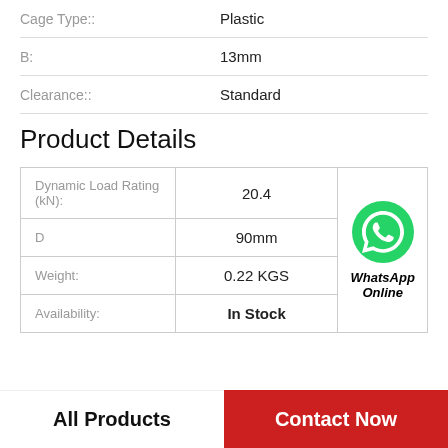| Property | Value |
| --- | --- |
| Cage Type:: | Plastic |
| B: | 13mm |
| Clearance:: | Standard |
Product Details
| Property | Value |  |
| --- | --- | --- |
| Dynamic Load Rating (kN): | 20.4 | WhatsApp Online |
| D | 90mm |  |
| Weight: | 0.22 KGS |  |
| Availability: | In Stock |  |
All Products
Contact Now